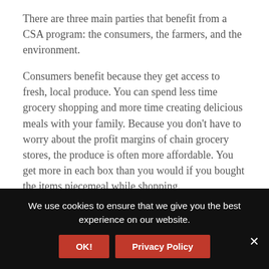There are three main parties that benefit from a CSA program: the consumers, the farmers, and the environment.
Consumers benefit because they get access to fresh, local produce. You can spend less time grocery shopping and more time creating delicious meals with your family. Because you don't have to worry about the profit margins of chain grocery stores, the produce is often more affordable. You get more in each box than you would if you bought the items piecemeal while shopping.
Farmers benefit because they get support from their friends and neighbors. These local farms don't have to try to sell their produce on a national level, potentially lowering prices and competing with large-scale operations. When local farmers are
We use cookies to ensure that we give you the best experience on our website.
OK!
Privacy Policy